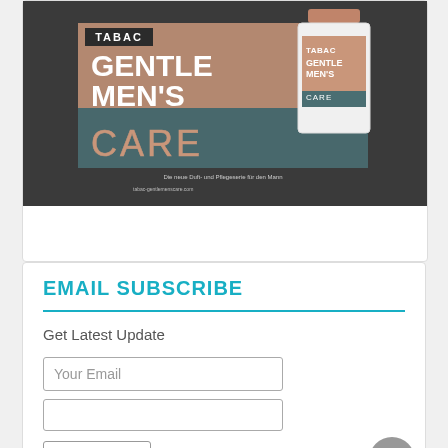[Figure (photo): Advertisement for TABAC GENTLE MEN'S CARE fragrance and grooming product line, showing a man in dark suit with perfume bottle, salmon/tan and dark teal color blocks with product name in large white and tan lettering.]
EMAIL SUBSCRIBE
Get Latest Update
Your Email
Subscribe